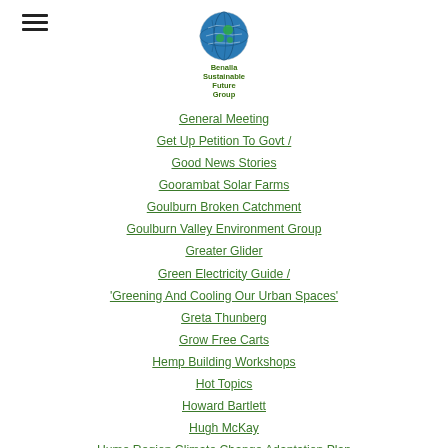Benalla Sustainable Future Group
General Meeting
Get Up Petition To Govt /
Good News Stories
Goorambat Solar Farms
Goulburn Broken Catchment
Goulburn Valley Environment Group
Greater Glider
Green Electricity Guide /
'Greening And Cooling Our Urban Spaces'
Greta Thunberg
Grow Free Carts
Hemp Building Workshops
Hot Topics
Howard Bartlett
Hugh McKay
Hume Region Climate Change Adaptation Plan
Hume Region Renewable Energy Roadmap
Ian Herbert
Images Of 2015 AGM
Indigo Power
International Permaculture Day
Jenny O'Connor